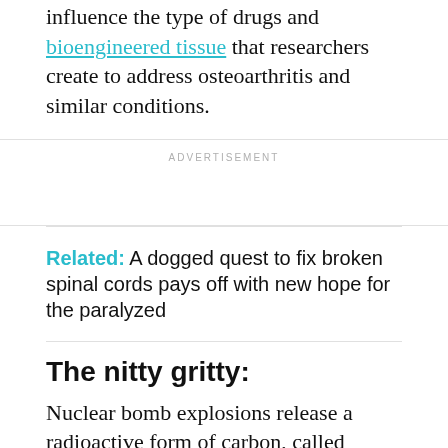influence the type of drugs and bioengineered tissue that researchers create to address osteoarthritis and similar conditions.
ADVERTISEMENT
Related: A dogged quest to fix broken spinal cords pays off with new hope for the paralyzed
The nitty gritty:
Nuclear bomb explosions release a radioactive form of carbon, called carbon-14. A series of